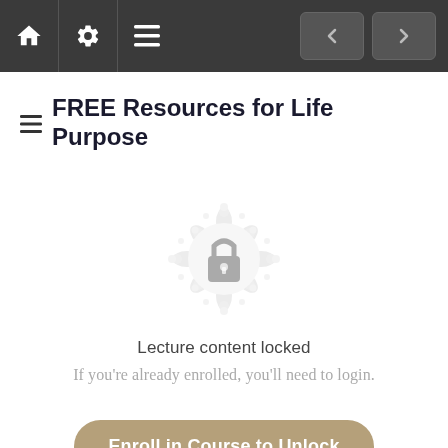Navigation bar with home, settings, menu, back and forward buttons
FREE Resources for Life Purpose
[Figure (illustration): Decorative mandala/rosette circle with a padlock icon in the center, indicating locked content]
Lecture content locked
If you're already enrolled, you'll need to login.
Enroll in Course to Unlock